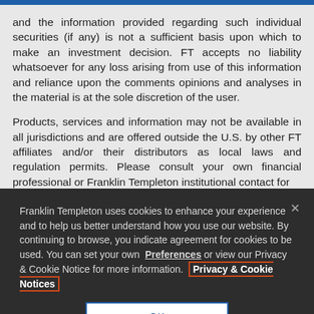and the information provided regarding such individual securities (if any) is not a sufficient basis upon which to make an investment decision. FT accepts no liability whatsoever for any loss arising from use of this information and reliance upon the comments opinions and analyses in the material is at the sole discretion of the user.
Products, services and information may not be available in all jurisdictions and are offered outside the U.S. by other FT affiliates and/or their distributors as local laws and regulation permits. Please consult your own financial professional or Franklin Templeton institutional contact for
Franklin Templeton uses cookies to enhance your experience and to help us better understand how you use our website. By continuing to browse, you indicate agreement for cookies to be used. You can set your own Preferences or view our Privacy & Cookie Notice for more information. Privacy & Cookie Notices
OK